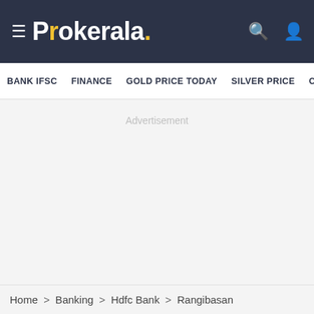Prokeraia. [hamburger menu, search icon, user icon]
BANK IFSC   FINANCE   GOLD PRICE TODAY   SILVER PRICE   CU
Advertisement
Home > Banking > Hdfc Bank > Rangibasan